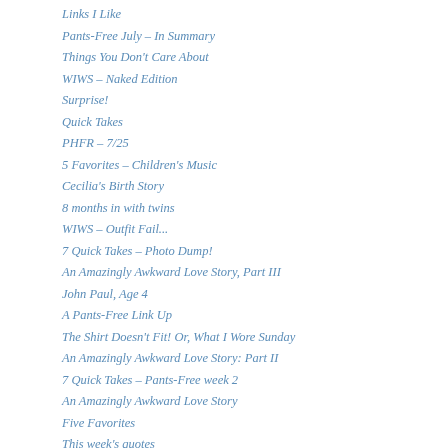Links I Like
Pants-Free July – In Summary
Things You Don't Care About
WIWS – Naked Edition
Surprise!
Quick Takes
PHFR – 7/25
5 Favorites – Children's Music
Cecilia's Birth Story
8 months in with twins
WIWS – Outfit Fail...
7 Quick Takes – Photo Dump!
An Amazingly Awkward Love Story, Part III
John Paul, Age 4
A Pants-Free Link Up
The Shirt Doesn't Fit! Or, What I Wore Sunday
An Amazingly Awkward Love Story: Part II
7 Quick Takes – Pants-Free week 2
An Amazingly Awkward Love Story
Five Favorites
This week's quotes
Good/Bad/Funny
WIWS – No Pants Edition
7QT – July 4 style!